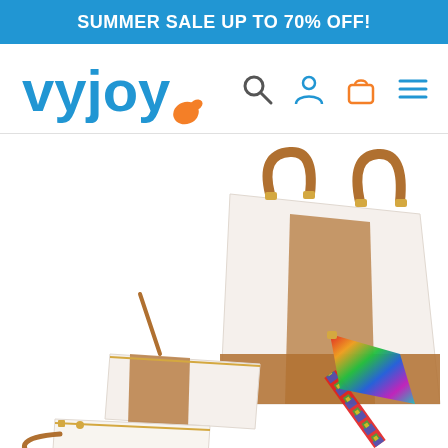SUMMER SALE UP TO 70% OFF!
[Figure (logo): vyjoy brand logo with blue text and orange swish accent]
[Figure (photo): White leather handbag set with brown handles and colorful woven strap, including a main tote bag, a small crossbody bag, and a wallet/wristlet, displayed on white background]